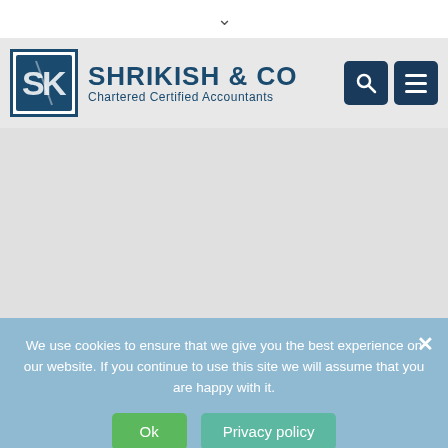[Figure (logo): Shrikish & Co Chartered Certified Accountants logo with SK monogram in a blue-bordered box]
We use cookies to ensure that we give you the best experience on our website. If you continue to use this site we will assume that you are happy with it.